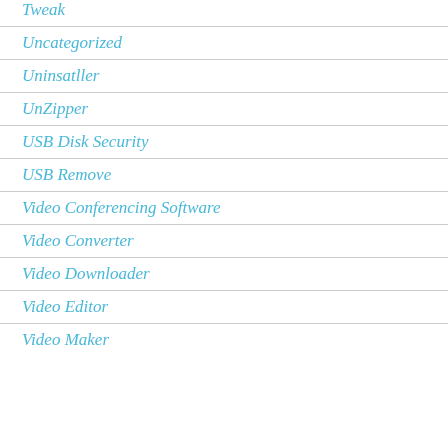Tweak
Uncategorized
Uninsatller
UnZipper
USB Disk Security
USB Remove
Video Conferencing Software
Video Converter
Video Downloader
Video Editor
Video Maker